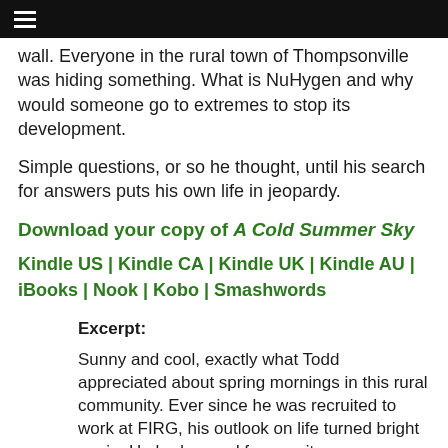☰
wall.  Everyone in the rural town of Thompsonville was hiding something.  What is NuHygen and why would someone go to extremes to stop its development.
Simple questions, or so he thought, until his search for answers puts his own life in jeopardy.
Download your copy of A Cold Summer Sky
Kindle US | Kindle CA | Kindle UK | Kindle AU | iBooks | Nook | Kobo | Smashwords
Excerpt:
Sunny and cool, exactly what Todd appreciated about spring mornings in this rural community.  Ever since he was recruited to work at FIRG, his outlook on life turned bright again.  He had moved from a city